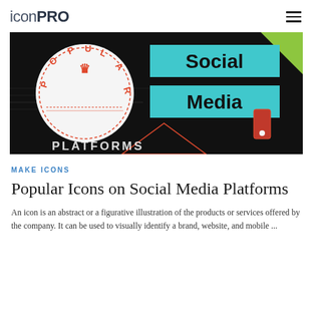iconPRO
[Figure (illustration): Dark background graphic showing 'Popular Social Media Platforms' with a circular stamp logo reading 'POPULAR' in red on white circle with crown, and 'Social Media' text in cyan/teal banners on right side, 'PLATFORMS' text at bottom in white, and a green triangle top right.]
MAKE ICONS
Popular Icons on Social Media Platforms
An icon is an abstract or a figurative illustration of the products or services offered by the company. It can be used to visually identify a brand, website, and mobile ...